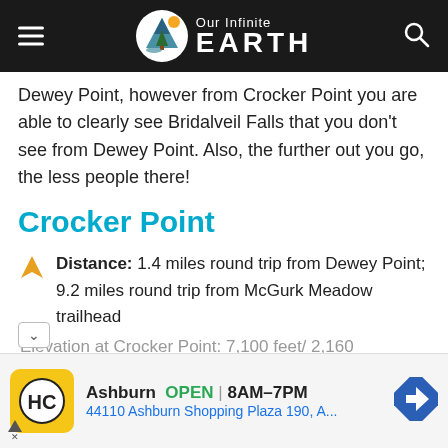Our Infinite EARTH
Dewey Point, however from Crocker Point you are able to clearly see Bridalveil Falls that you don't see from Dewey Point. Also, the further out you go, the less people there!
Crocker Point
Distance: 1.4 miles round trip from Dewey Point; 9.2 miles round trip from McGurk Meadow trailhead
Elevation at Crocker Point: 7,100 feet/ 2,160
Ashburn OPEN 8AM–7PM 44110 Ashburn Shopping Plaza 190, A...